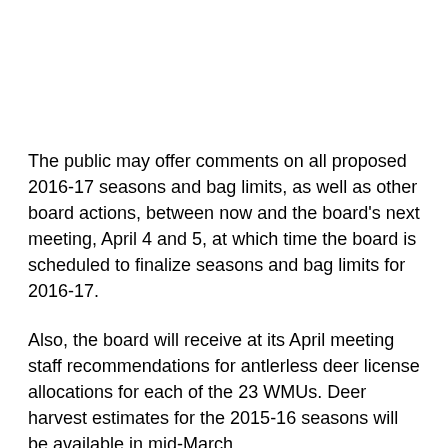The public may offer comments on all proposed 2016-17 seasons and bag limits, as well as other board actions, between now and the board's next meeting, April 4 and 5, at which time the board is scheduled to finalize seasons and bag limits for 2016-17.
Also, the board will receive at its April meeting staff recommendations for antlerless deer license allocations for each of the 23 WMUs. Deer harvest estimates for the 2015-16 seasons will be available in mid-March.
Following are several articles on meeting highlights.